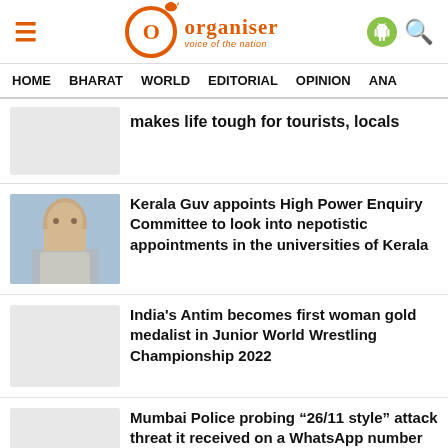Organiser - Voice of the Nation
HOME  BHARAT  WORLD  EDITORIAL  OPINION  ANA
makes life tough for tourists, locals
Kerala Guv appoints High Power Enquiry Committee to look into nepotistic appointments in the universities of Kerala
India's Antim becomes first woman gold medalist in Junior World Wrestling Championship 2022
Mumbai Police probing "26/11 style" attack threat it received on a WhatsApp number from Pakistan phone number
UP: 2 die of suffocation during